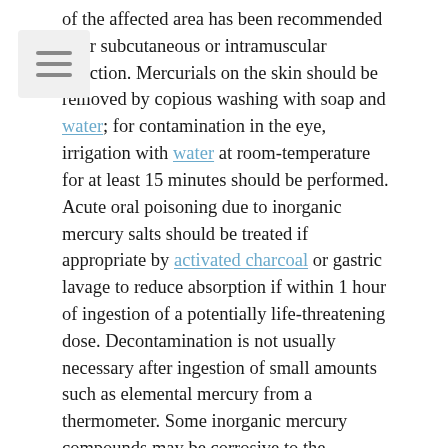of the affected area has been recommended after subcutaneous or intramuscular injection. Mercurials on the skin should be removed by copious washing with soap and water; for contamination in the eye, irrigation with water at room-temperature for at least 15 minutes should be performed. Acute oral poisoning due to inorganic mercury salts should be treated if appropriate by activated charcoal or gastric lavage to reduce absorption if within 1 hour of ingestion of a potentially life-threatening dose. Decontamination is not usually necessary after ingestion of small amounts such as elemental mercury from a thermometer. Some inorganic mercury compounds may be corrosive to the gastrointestinal tract when ingested, which can make gastrointestinal decontamination problematic; induction of emesis is not recommended. Gastric decontamination may be tried for organic mercury compounds, although the benefits are uncertain. In severe cases of toxicity with all forms of mercury poisoning, chelation therapy may be required to facilitate the removal of mercury from the body. Unithiol is the chelating agent of choice in the UK and should be considered in symptomatic patients with a blood-mercury concentration of 100